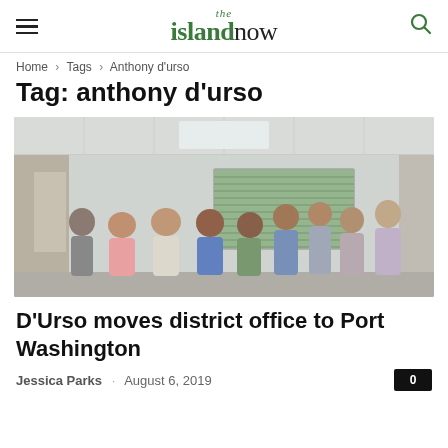the islandnow
Home › Tags › Anthony d'urso
Tag: anthony d'urso
[Figure (photo): Group photo of approximately 11 people standing together in an office room with drop ceiling, fluorescent lighting, and a window with blinds in the background.]
D'Urso moves district office to Port Washington
Jessica Parks · August 6, 2019